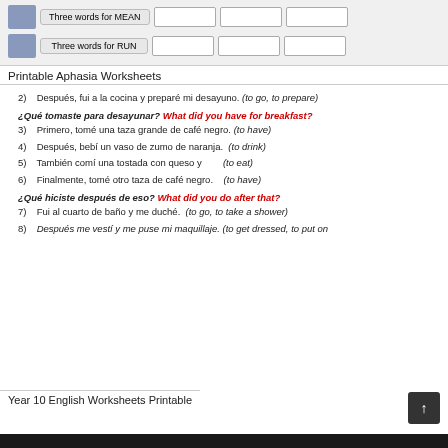[Figure (other): Worksheet rows with icon, label box, and answer boxes for 'Three words for MEAN' and 'Three words for RUN']
Printable Aphasia Worksheets
2) Después, fui a la cocina y preparé mi desayuno. (to go, to prepare)
¿Qué tomaste para desayunar? What did you have for breakfast?
3) Primero, tomé una taza grande de café negro. (to have)
4) Después, bebí un vaso de zumo de naranja. (to drink)
5) También comí una tostada con queso y        (to eat)
6) Finalmente, tomé otro taza de café negro.    (to have)
¿Qué hiciste después de eso? What did you do after that?
7) Fui al cuarto de baño y me duché. (to go, to take a shower)
8) Después me vestí y me puse mi maquillaje. (to get dressed, to put on
Year 10 English Worksheets Printable